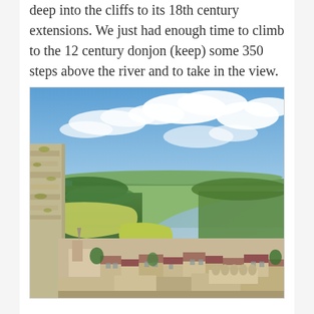deep into the cliffs to its 18th century extensions. We just had enough time to climb to the 12 century donjon (keep) some 350 steps above the river and to take in the view.
[Figure (photo): Aerial view from a medieval castle keep looking down over a French town with historic buildings and church, with a wide river winding through green fields and forests under a partly cloudy blue sky.]